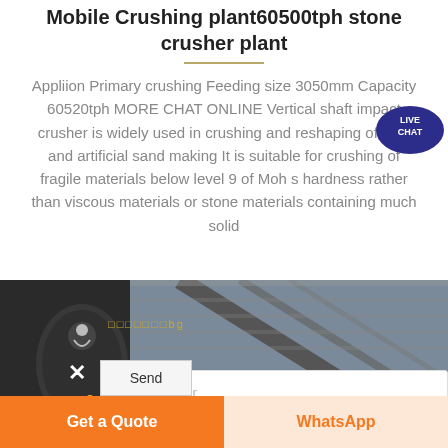Mobile Crushing plant60500tph stone crusher plant
Appliion Primary crushing Feeding size 3050mm Capacity 60520tph MORE CHAT ONLINE Vertical shaft impact crusher is widely used in crushing and reshaping of rock and artificial sand making It is suitable for crushing of fragile materials below level 9 of Moh s hardness rather than viscous materials or stone materials containing much solid
[Figure (photo): Industrial stone crusher / mobile crushing plant machinery, dark metal equipment shot from below against corrugated metal roofing]
Please enter ...
Get a Quote
WhatsApp
Send